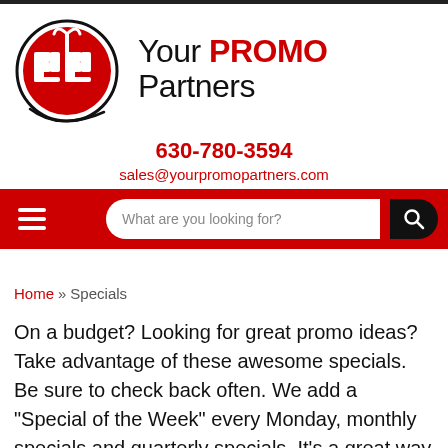[Figure (logo): Your PROMO Partners logo: red circle with white YP letters and a stylized fork/plant symbol on top]
Your PROMO Partners
630-780-3594
sales@yourpromopartners.com
What are you looking for?
Home » Specials
On a budget? Looking for great promo ideas? Take advantage of these awesome specials. Be sure to check back often. We add a "Special of the Week" every Monday, monthly specials and quarterly specials. It's a great way to